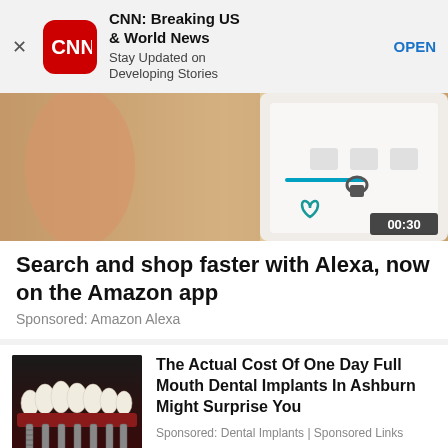[Figure (screenshot): CNN app advertisement banner with red rounded icon showing CNN logo, title 'CNN: Breaking US & World News', subtitle 'Stay Updated on Developing Stories', and blue OPEN button. An X close button is on the left.]
[Figure (screenshot): Video thumbnail showing a smartphone screen with icons and interface elements, timestamp 00:30 in bottom right corner.]
Search and shop faster with Alexa, now on the Amazon app
Sponsored: Amazon Alexa
[Figure (photo): 3D illustration of dental implants showing white tooth crowns with metal screw posts on a dark red background.]
The Actual Cost Of One Day Full Mouth Dental Implants In Ashburn Might Surprise You
Sponsored: Dental Implants | Sponsored Links
[Figure (photo): Close-up photo of a person's skin/abdomen area, light skin tone.]
Warning Signs of Amyloidosis Shouldn't Be Ignored
Sponsored: Amyloidosis | Search Ads